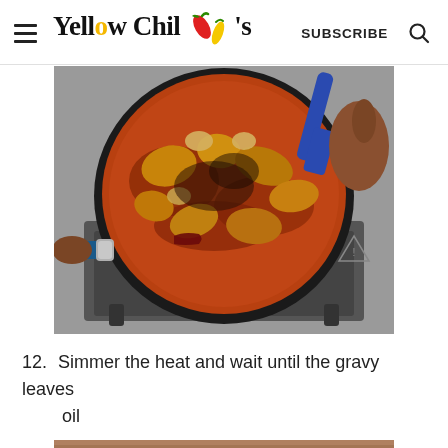Yellow Chili's | SUBSCRIBE
[Figure (photo): Overhead view of a dark pan on a stovetop with chicken curry cooking in red-orange gravy, being stirred with a blue spatula. A hand is visible holding the pan handle on the left and the spatula on the right.]
12. Simmer the heat and wait until the gravy leaves oil
[Figure (photo): Partial view of another cooking step photo at the bottom]